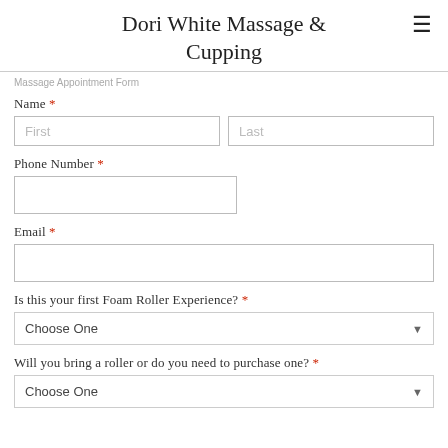Dori White Massage & Cupping
Massage Appointment Form (truncated/cut off at top)
Name *
Phone Number *
Email *
Is this your first Foam Roller Experience? *
Choose One
Will you bring a roller or do you need to purchase one? *
Choose One